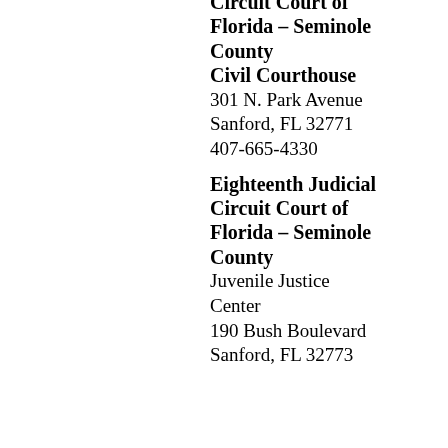Circuit Court of Florida – Seminole County Civil Courthouse 301 N. Park Avenue Sanford, FL 32771 407-665-4330
Eighteenth Judicial Circuit Court of Florida – Seminole County Juvenile Justice Center 190 Bush Boulevard Sanford, FL 32773